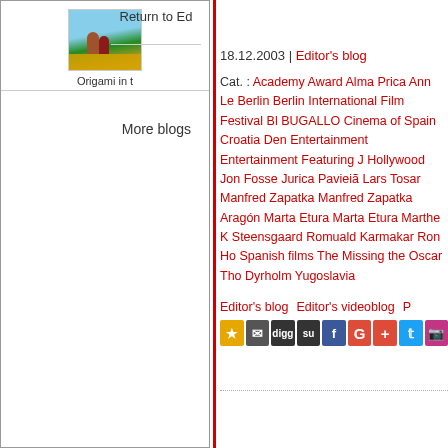[Figure (photo): Movie thumbnail image showing outdoor scene with people]
Origami in t
Return to Ed
More blogs
18.12.2003 | Editor's blog
Cat. : Academy Award Alma Prica Ann Le Berlin Berlin International Film Festival Bl BUGALLO Cinema of Spain Croatia Den Entertainment Entertainment Featuring J Hollywood Jon Fosse Jurica Pavieiã Lars Tosar Manfred Zapatka Manfred Zapatka Aragón Marta Etura Marta Etura Marthe K Steensgaard Romuald Karmakar Ron Ho Spanish films The Missing the Oscar Tho Dyrholm Yugoslavia
Editor's blog   Editor's videoblog   P